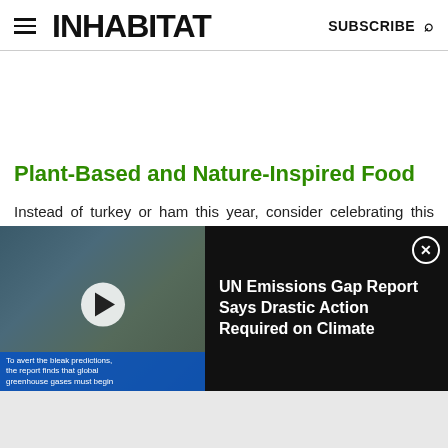INHABITAT  SUBSCRIBE
Plant-Based and Nature-Inspired Food
Instead of turkey or ham this year, consider celebrating this season of good will with a gentle, cruelty-free meal
[Figure (screenshot): Video overlay bar showing a power plant with cooling towers emitting steam, a play button, and caption text reading 'To avert the bleak predictions, the report finds that global greenhouse gases must begin'. The right side shows text 'UN Emissions Gap Report Says Drastic Action Required on Climate' with a close button.]